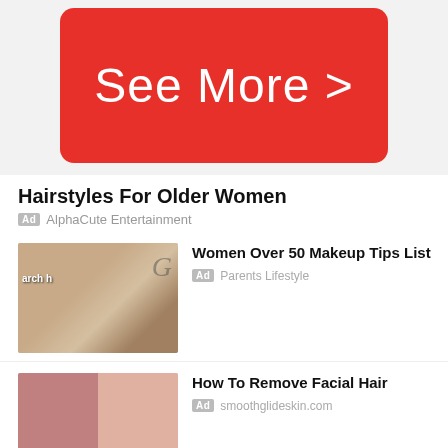[Figure (screenshot): Red 'See More >' button UI element]
Hairstyles For Older Women
Ad  AlphaCute Entertainment
[Figure (photo): Photo of older woman with hairstyle, glasses]
Women Over 50 Makeup Tips List
Ad  Parents Lifestyle
[Figure (photo): Close-up before/after photo of facial hair removal on chin area]
How To Remove Facial Hair
Ad  smoothglideskin.com
[Figure (photo): Photo of braided/twisted hair style close-up]
Trendy hairstyles for you
Ad  Phemmie's Place
[Figure (photo): Photo of person with hair treatment procedure]
Azalea Skin Treatment Center - NC Hair Restoration